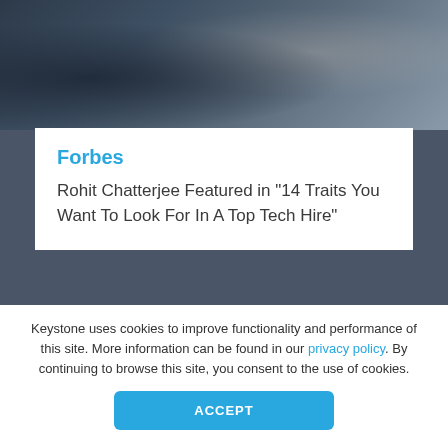[Figure (photo): Photo of people in a business meeting, partially visible at top of page]
Forbes
Rohit Chatterjee Featured in “14 Traits You Want To Look For In A Top Tech Hire”
[Figure (logo): CONSULTING magazine logo with tagline: THE PEOPLE • THE PROFESSION • THE LIFESTYLE]
Keystone uses cookies to improve functionality and performance of this site. More information can be found in our privacy policy. By continuing to browse this site, you consent to the use of cookies.
ACCEPT